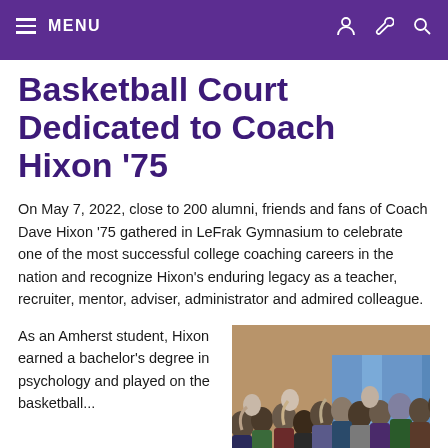MENU
Basketball Court Dedicated to Coach Hixon '75
On May 7, 2022, close to 200 alumni, friends and fans of Coach Dave Hixon '75 gathered in LeFrak Gymnasium to celebrate one of the most successful college coaching careers in the nation and recognize Hixon's enduring legacy as a teacher, recruiter, mentor, adviser, administrator and admired colleague.
As an Amherst student, Hixon earned a bachelor's degree in psychology and played on the basketball...
[Figure (photo): Crowd of people applauding in LeFrak Gymnasium, standing and clapping, with blue curtains visible in background]